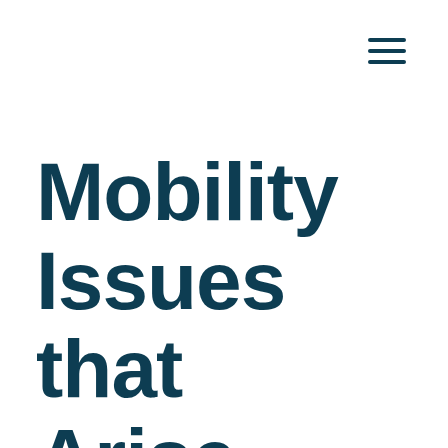[Figure (other): Hamburger menu icon — three horizontal dark teal lines in the top-right corner]
Mobility Issues that Arise after Having a Stroke